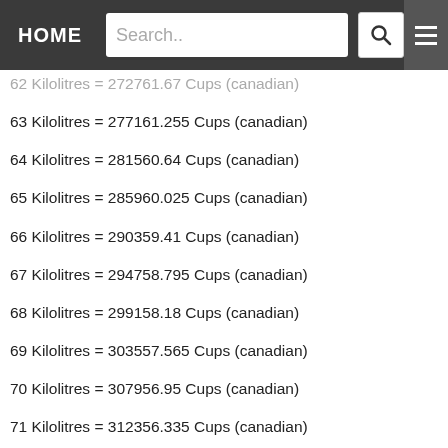HOME | Search..
62 Kilolitres = 272761.67 Cups (canadian)
63 Kilolitres = 277161.255 Cups (canadian)
64 Kilolitres = 281560.64 Cups (canadian)
65 Kilolitres = 285960.025 Cups (canadian)
66 Kilolitres = 290359.41 Cups (canadian)
67 Kilolitres = 294758.795 Cups (canadian)
68 Kilolitres = 299158.18 Cups (canadian)
69 Kilolitres = 303557.565 Cups (canadian)
70 Kilolitres = 307956.95 Cups (canadian)
71 Kilolitres = 312356.335 Cups (canadian)
72 Kilolitres = 316755.72 Cups (canadian)